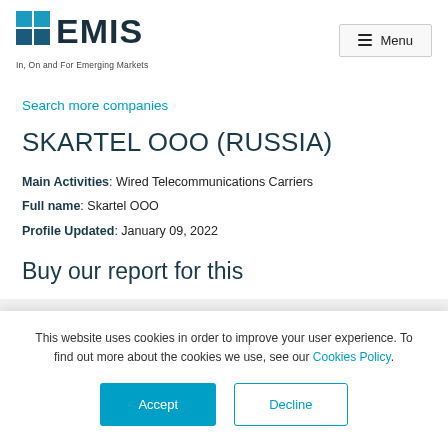[Figure (logo): EMIS logo with colored grid squares and text 'In, On and For Emerging Markets']
Search more companies
SKARTEL OOO (RUSSIA)
Main Activities: Wired Telecommunications Carriers
Full name: Skartel OOO
Profile Updated: January 09, 2022
Buy our report for this
This website uses cookies in order to improve your user experience. To find out more about the cookies we use, see our Cookies Policy.